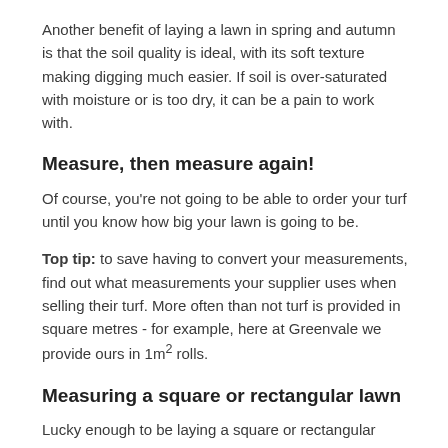Another benefit of laying a lawn in spring and autumn is that the soil quality is ideal, with its soft texture making digging much easier. If soil is over-saturated with moisture or is too dry, it can be a pain to work with.
Measure, then measure again!
Of course, you're not going to be able to order your turf until you know how big your lawn is going to be.
Top tip: to save having to convert your measurements, find out what measurements your supplier uses when selling their turf. More often than not turf is provided in square metres - for example, here at Greenvale we provide ours in 1m² rolls.
Measuring a square or rectangular lawn
Lucky enough to be laying a square or rectangular shaped lawn? Simply measure the length and width of your